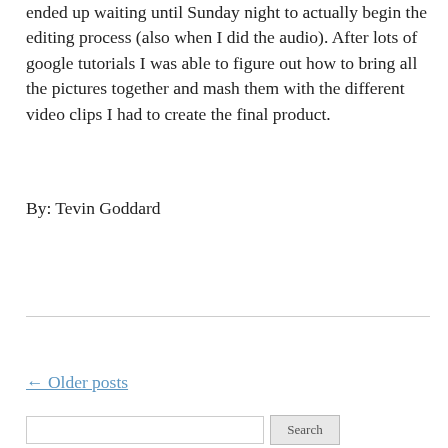ended up waiting until Sunday night to actually begin the editing process (also when I did the audio). After lots of google tutorials I was able to figure out how to bring all the pictures together and mash them with the different video clips I had to create the final product.
By: Tevin Goddard
← Older posts
Search